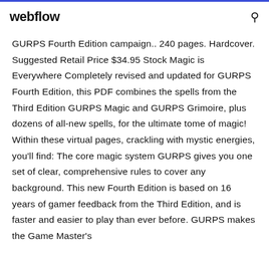webflow
GURPS Fourth Edition campaign.. 240 pages. Hardcover. Suggested Retail Price $34.95 Stock Magic is Everywhere Completely revised and updated for GURPS Fourth Edition, this PDF combines the spells from the Third Edition GURPS Magic and GURPS Grimoire, plus dozens of all-new spells, for the ultimate tome of magic! Within these virtual pages, crackling with mystic energies, you'll find: The core magic system GURPS gives you one set of clear, comprehensive rules to cover any background. This new Fourth Edition is based on 16 years of gamer feedback from the Third Edition, and is faster and easier to play than ever before. GURPS makes the Game Master's